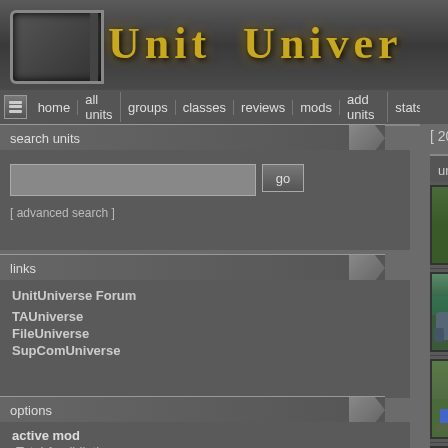Unit Universe
home  all units  groups  classes  reviews  mods  add units  stats
search units
[ advanced search ]
[ 20 ] results
links
UnitUniverse Forum
TAUniverse
FileUniverse
SupComUniverse
options
active mod
Total Annihilation
skins
retro
orange
| unit | creator |
| --- | --- |
| Arm Radar Mine [ ARM ]
Radar Mine | Atomic U |
| Bear [ ARM ]
Amphibious Assault Tank | Atomic U |
| Core Fox [ CORE ]
Mobile Resource Storage | Atomic U |
| Core Radar Mine [ CORE ]
Radar Mine | Atomic U |
| Dagger [ ARM ]
Commander Defense Tower | Atomic U |